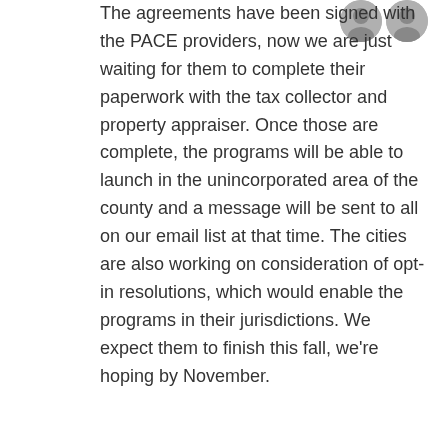The agreements have been signed with the PACE providers, now we are just waiting for them to complete their paperwork with the tax collector and property appraiser. Once those are complete, the programs will be able to launch in the unincorporated area of the county and a message will be sent to all on our email list at that time. The cities are also working on consideration of opt-in resolutions, which would enable the programs in their jurisdictions. We expect them to finish this fall, we're hoping by November.
Rosey Bloch
October 2, 2018
Can you tell me when the PACE program will be available in Sarasota? We had storm damage to windows (steam between panes) from Irma that our insurance will not cover. We bought a house on Siesta June 2012 and one or several previous owners installed reflective window tinting imporperly, and it